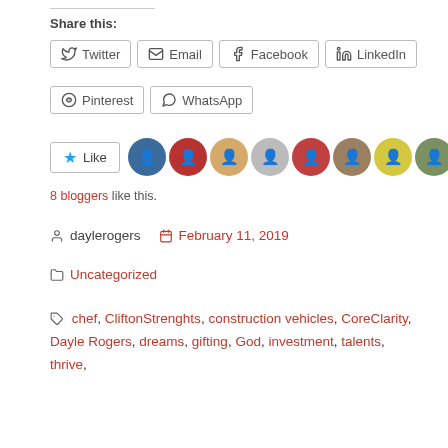Share this:
Twitter  Email  Facebook  LinkedIn  Pinterest  WhatsApp
Like  8 bloggers like this.
daylerogers   February 11, 2019
Uncategorized
chef, CliftonStrenghts, construction vehicles, CoreClarity, Dayle Rogers, dreams, gifting, God, investment, talents, thrive,